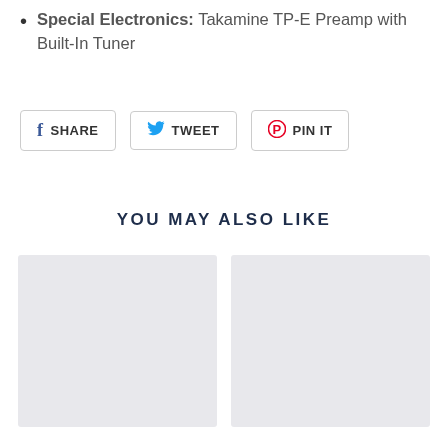Special Electronics: Takamine TP-E Preamp with Built-In Tuner
[Figure (infographic): Social share buttons: Facebook SHARE, Twitter TWEET, Pinterest PIN IT]
YOU MAY ALSO LIKE
[Figure (photo): Product image placeholder (left) - light gray rectangle]
[Figure (photo): Product image placeholder (right) - light gray rectangle]